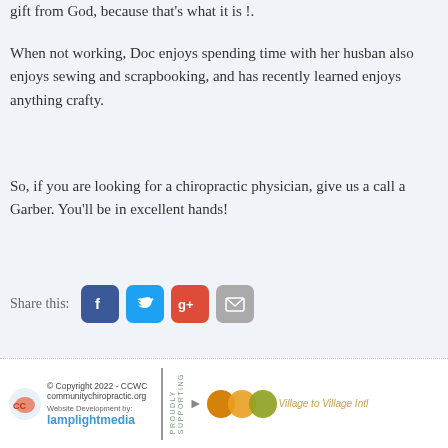gift from God, because that's what it is !.
When not working, Doc enjoys spending time with her husband. She also enjoys sewing and scrapbooking, and has recently learned to... enjoys anything crafty.
So, if you are looking for a chiropractic physician, give us a call and ask for Dr. Garber.  You'll be in excellent hands!
[Figure (infographic): Share this: row with Facebook, Twitter, Google+, and Email icon buttons]
Comments are closed.
© Copyright 2022 - CCWC communitychiropractic.org | Website Development by: lamplightmedia | PROUDLY SUPPORTING | Village to Village Intl